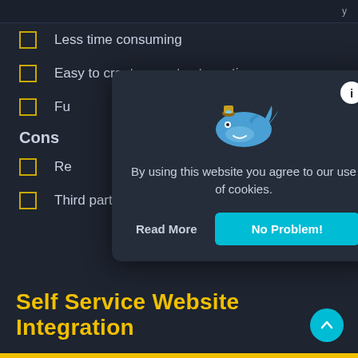Less time consuming
Easy to create reports at any time
Fu[obscured by modal]
Cons
Re[obscured by modal]
Third party dependency
[Figure (screenshot): Cookie consent modal with a whale emoji, info icon, message 'By using this website you agree to our use of cookies.', and two buttons: 'Read More' and 'No Problem!']
Self Service Website Integration